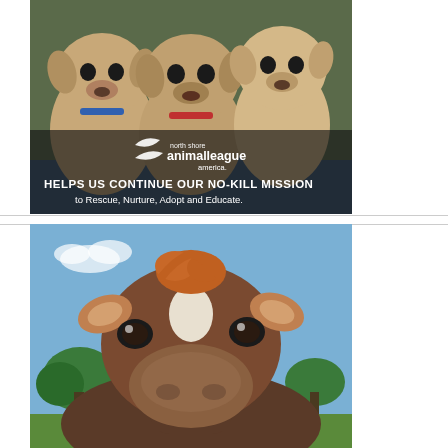[Figure (photo): Advertisement photo showing three puppies being held, with North Shore Animal League America logo and text 'HELPS US CONTINUE OUR NO-KILL MISSION to Rescue, Nurture, Adopt and Educate.']
[Figure (photo): Photo of a brown and white dairy cow looking directly at camera against a blue sky background with green trees.]